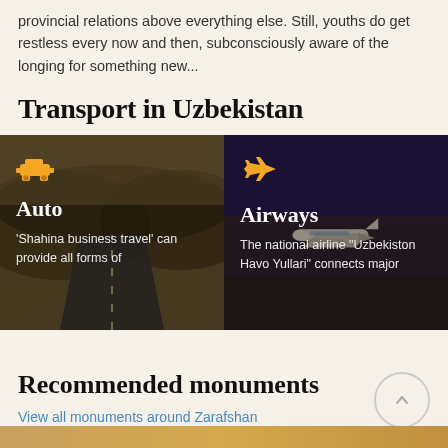provincial relations above everything else. Still, youths do get restless every now and then, subconsciously aware of the longing for something new...
Transport in Uzbekistan
[Figure (photo): Auto transport card with dark landscape road background, gold car icon, title 'Auto', description: 'Shahina business travel' can provide all forms of]
[Figure (photo): Airways card with dark purple background showing airplane on tarmac, gold airplane icon, title 'Airways', description: The national airline "Uzbekiston Havo Yullari" connects major]
Recommended monuments
View all monuments around Zarafshan